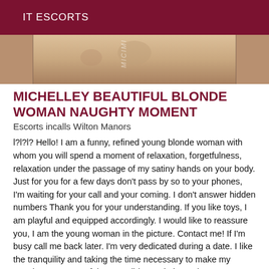IT ESCORTS
[Figure (photo): Cropped photo of a person, torso visible, with a watermark overlay]
MICHELLEY BEAUTIFUL BLONDE WOMAN NAUGHTY MOMENT
Escorts incalls Wilton Manors
l?l?l? Hello! I am a funny, refined young blonde woman with whom you will spend a moment of relaxation, forgetfulness, relaxation under the passage of my satiny hands on your body. Just for you for a few days don't pass by so to your phones, I'm waiting for your call and your coming. I don't answer hidden numbers Thank you for your understanding. If you like toys, I am playful and equipped accordingly. I would like to reassure you, I am the young woman in the picture. Contact me! If I'm busy call me back later. I'm very dedicated during a date. I like the tranquility and taking the time necessary to make my meeting as successful as possible. I ask the curious to